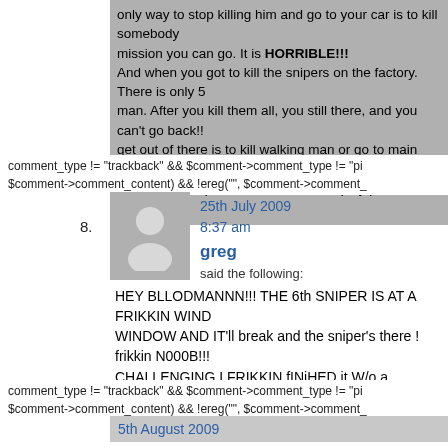only way to stop killing him and go to your car is to kill somebody mission you can go. It is HORRIBLE!!! And when you got to kill the snipers on the factory. There is only 5 man. After you kill them all, you still there, and you can't go back!! get out of there is to kill walking man or go to main menu!!! Super bags than this piece of sh…t. I better play pac-man then this.
comment_type != "trackback" && $comment->comment_type != "pi $comment->comment_content) && !ereg("", $comment->comment_
25th July 2009
8:37 am
greg
said the following:
HEY BLLODMANNN!!! THE 6th SNIPER IS AT A FRIKKIN WINDOW AND IT'll break and the sniper's there ! frikkin N000B!!! CHALLENGING I FRIKKIN fINiHED it W/o a WALTHROUGH!!!!>:

SIFT HEADDS 5 BEST IN FRIGGIN SERIES!!!!!!!! 1423163472147

AND I HAVE U KNOW THAT THE game GLITCHES DUE TO EAR
comment_type != "trackback" && $comment->comment_type != "pi $comment->comment_content) && !ereg("", $comment->comment_
5th August 2009